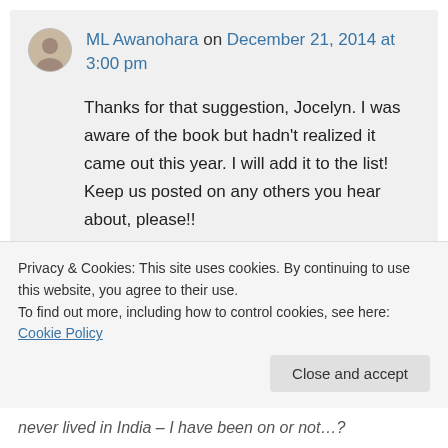ML Awanohara on December 21, 2014 at 3:00 pm
Thanks for that suggestion, Jocelyn. I was aware of the book but hadn't realized it came out this year. I will add it to the list! Keep us posted on any others you hear about, please!!
↳ Reply
Privacy & Cookies: This site uses cookies. By continuing to use this website, you agree to their use.
To find out more, including how to control cookies, see here: Cookie Policy
Close and accept
never lived in India – I have been on or not…?